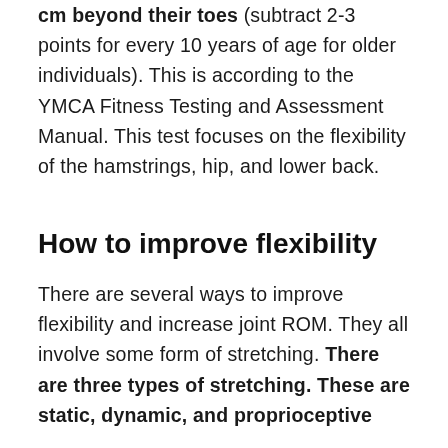cm beyond their toes (subtract 2-3 points for every 10 years of age for older individuals). This is according to the YMCA Fitness Testing and Assessment Manual. This test focuses on the flexibility of the hamstrings, hip, and lower back.
How to improve flexibility
There are several ways to improve flexibility and increase joint ROM. They all involve some form of stretching. There are three types of stretching. These are static, dynamic, and proprioceptive